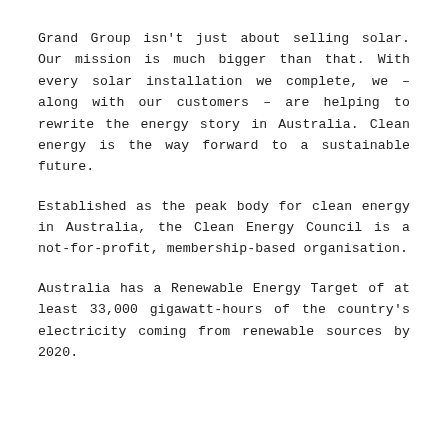Grand Group isn't just about selling solar. Our mission is much bigger than that. With every solar installation we complete, we – along with our customers – are helping to rewrite the energy story in Australia. Clean energy is the way forward to a sustainable future.
Established as the peak body for clean energy in Australia, the Clean Energy Council is a not-for-profit, membership-based organisation.
Australia has a Renewable Energy Target of at least 33,000 gigawatt-hours of the country's electricity coming from renewable sources by 2020.